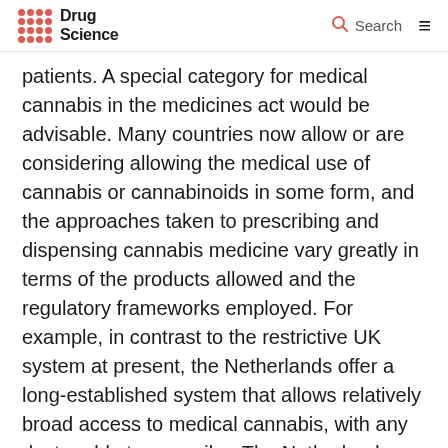Drug Science | Search
patients. A special category for medical cannabis in the medicines act would be advisable. Many countries now allow or are considering allowing the medical use of cannabis or cannabinoids in some form, and the approaches taken to prescribing and dispensing cannabis medicine vary greatly in terms of the products allowed and the regulatory frameworks employed. For example, in contrast to the restrictive UK system at present, the Netherlands offer a long-established system that allows relatively broad access to medical cannabis, with any doctor able to prescribe. The Netherlands-Nabiximol-containing medicinal products (such as Sativex)